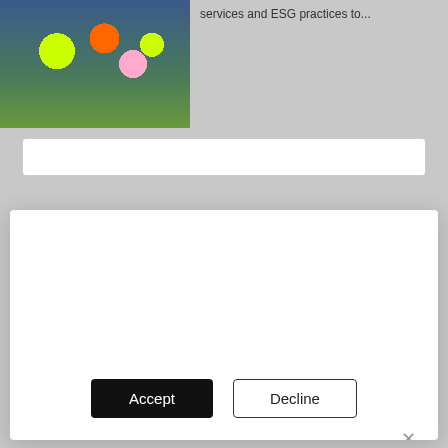[Figure (photo): Partial view of a photo showing two people standing in front of a colorful mural with large flower-like shapes in yellow, orange, and pink against a dark blue background.]
services and ESG practices to...
These website stores cookies on your computer. These cookies collect information about how you interact with our website and allow us to remember you. We use this information to improve and customise your browsing experience and for analytics and metrics about our visitors both on this website and on other media. To find out more about the cookies we use, see our Privacy Policy.
If you decline, your information won't be tracked when you visit this website. We use cookies to enable the use of our platform's paid features and to analyse our traffic. No personal data, including your IP address, is stored and we do not sell data to third parties.